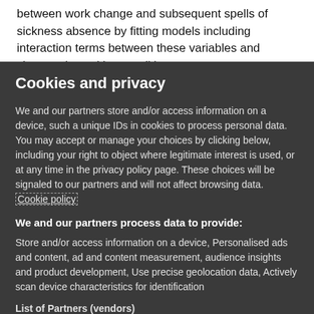between work change and subsequent spells of sickness absence by fitting models including interaction terms between these variables and changes in working conditions
Cookies and privacy
We and our partners store and/or access information on a device, such a unique IDs in cookies to process personal data. You may accept or manage your choices by clicking below, including your right to object where legitimate interest is used, or at any time in the privacy policy page. These choices will be signaled to our partners and will not affect browsing data. Cookie policy
We and our partners process data to provide:
Store and/or access information on a device, Personalised ads and content, ad and content measurement, audience insights and product development, Use precise geolocation data, Actively scan device characteristics for identification
List of Partners (vendors)
I Accept